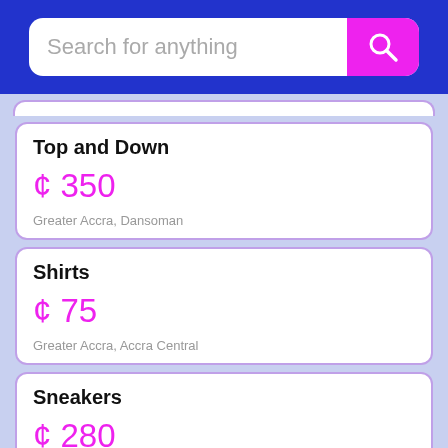[Figure (screenshot): Search bar with placeholder text 'Search for anything' and a magenta search button with magnifying glass icon on a blue background]
Top and Down
¢ 350
Greater Accra, Dansoman
Shirts
¢ 75
Greater Accra, Accra Central
Sneakers
¢ 280
Greater Accra, Accra Central